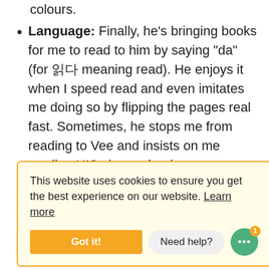colours.
Language: Finally, he’s bringing books for me to read to him by saying “da” (for 한국 meaning read). He enjoys it when I speed read and even imitates me doing so by flipping the pages real fast. Sometimes, he stops me from reading to Vee and insists on me reading HIS chosen book.
When he recognises objects in books, he’ll ... rites: ... al ... ations
This website uses cookies to ensure you get the best experience on our website. Learn more
Got it!   Need help?
... and miniature objects (especially ...